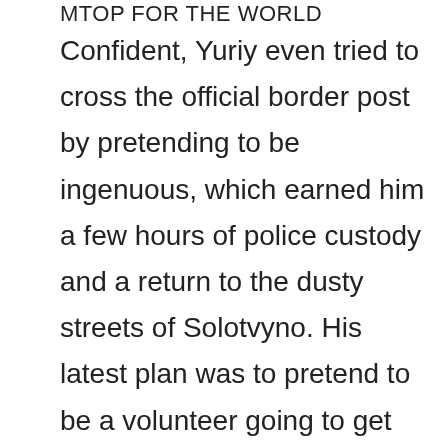MTOP FOR THE WORLD
Confident, Yuriy even tried to cross the official border post by pretending to be ingenuous, which earned him a few hours of police custody and a return to the dusty streets of Solotvyno. His latest plan was to pretend to be a volunteer going to get cars in Europe, which could allow him to get a temporary authorization to leave the territory and disappear into the wild. He may have succeeded. Since the